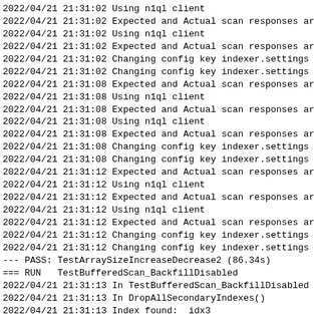2022/04/21 21:31:02 Using n1ql client
2022/04/21 21:31:02 Expected and Actual scan responses ar
2022/04/21 21:31:02 Using n1ql client
2022/04/21 21:31:02 Expected and Actual scan responses ar
2022/04/21 21:31:02 Changing config key indexer.settings
2022/04/21 21:31:02 Changing config key indexer.settings
2022/04/21 21:31:08 Expected and Actual scan responses ar
2022/04/21 21:31:08 Using n1ql client
2022/04/21 21:31:08 Expected and Actual scan responses ar
2022/04/21 21:31:08 Using n1ql client
2022/04/21 21:31:08 Expected and Actual scan responses ar
2022/04/21 21:31:08 Changing config key indexer.settings
2022/04/21 21:31:08 Changing config key indexer.settings
2022/04/21 21:31:12 Expected and Actual scan responses ar
2022/04/21 21:31:12 Using n1ql client
2022/04/21 21:31:12 Expected and Actual scan responses ar
2022/04/21 21:31:12 Using n1ql client
2022/04/21 21:31:12 Expected and Actual scan responses ar
2022/04/21 21:31:12 Changing config key indexer.settings
2022/04/21 21:31:12 Changing config key indexer.settings
--- PASS: TestArraySizeIncreaseDecrease2 (86.34s)
=== RUN   TestBufferedScan_BackfillDisabled
2022/04/21 21:31:13 In TestBufferedScan_BackfillDisabled
2022/04/21 21:31:13 In DropAllSecondaryIndexes()
2022/04/21 21:31:13 Index found:  idx3
2022/04/21 21:31:13 Dropped index idx3
2022/04/21 21:31:13 Index found:  arr1
2022/04/21 21:31:13 Dropped index arr1
2022/04/21 21:31:13 Index found:  arr2
2022/04/21 21:31:13 Dropped index arr2